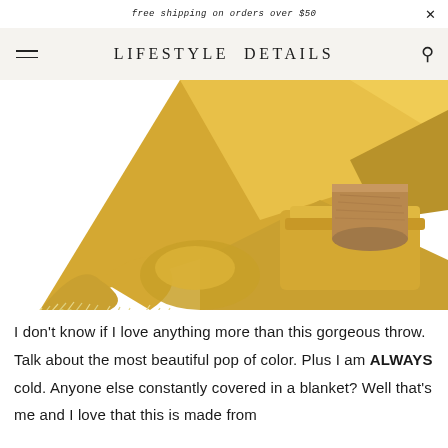free shipping on orders over $50
LIFESTYLE DETAILS
[Figure (photo): Yellow/golden woven throw blanket with fringe tassels, folded and draped, with a wooden cup/cylinder, on a white background]
I don't know if I love anything more than this gorgeous throw. Talk about the most beautiful pop of color. Plus I am ALWAYS cold. Anyone else constantly covered in a blanket? Well that's me and I love that this is made from